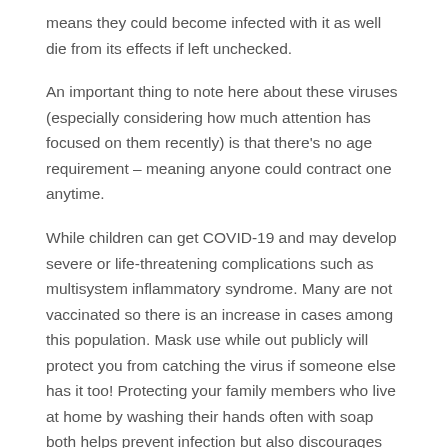means they could become infected with it as well die from its effects if left unchecked.
An important thing to note here about these viruses (especially considering how much attention has focused on them recently) is that there's no age requirement – meaning anyone could contract one anytime.
While children can get COVID-19 and may develop severe or life-threatening complications such as multisystem inflammatory syndrome. Many are not vaccinated so there is an increase in cases among this population. Mask use while out publicly will protect you from catching the virus if someone else has it too! Protecting your family members who live at home by washing their hands often with soap both helps prevent infection but also discourages passivity. Since they feel like something needs to be done about getting illness under control quickly instead of just sitting around waiting for it's going away on its own.